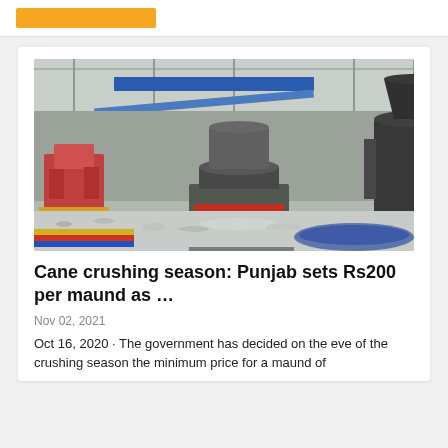[Figure (photo): Industrial crushing machine in a factory/warehouse setting with gravel on the floor, multiple machines visible, blue banner in background]
Cane crushing season: Punjab sets Rs200 per maund as …
Nov 02, 2021
Oct 16, 2020 · The government has decided on the eve of the crushing season the minimum price for a maund of